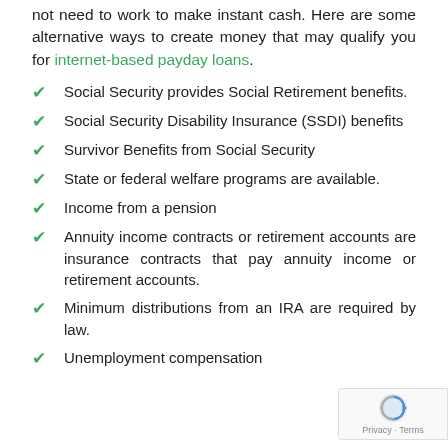not need to work to make instant cash. Here are some alternative ways to create money that may qualify you for internet-based payday loans.
Social Security provides Social Retirement benefits.
Social Security Disability Insurance (SSDI) benefits
Survivor Benefits from Social Security
State or federal welfare programs are available.
Income from a pension
Annuity income contracts or retirement accounts are insurance contracts that pay annuity income or retirement accounts.
Minimum distributions from an IRA are required by law.
Unemployment compensation